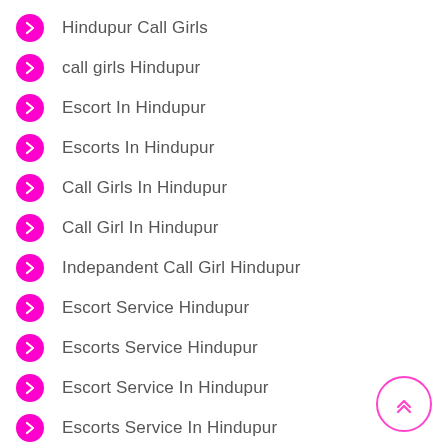Hindupur Call Girls
call girls Hindupur
Escort In Hindupur
Escorts In Hindupur
Call Girls In Hindupur
Call Girl In Hindupur
Indepandent Call Girl Hindupur
Escort Service Hindupur
Escorts Service Hindupur
Escort Service In Hindupur
Escorts Service In Hindupur
Escort Hindupur
Escorts Hindupur